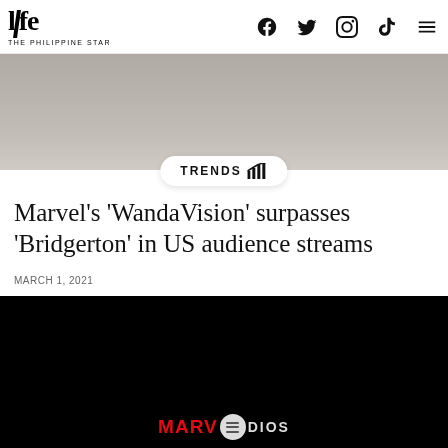life THE PHILIPPINE STAR
[Figure (photo): Hero image - grey toned background photo, partially visible, with TRENDS badge overlay at bottom center]
Marvel’s ‘WandaVision’ surpasses ‘Bridgerton’ in US audience streams
MARCH 1, 2021
[Figure (screenshot): Black video player area showing Marvel Studios logo at bottom]
[Figure (photo): Advertisement banner: Love this game Can't stop playing! Download Now - Bubble Shooter Animal World]